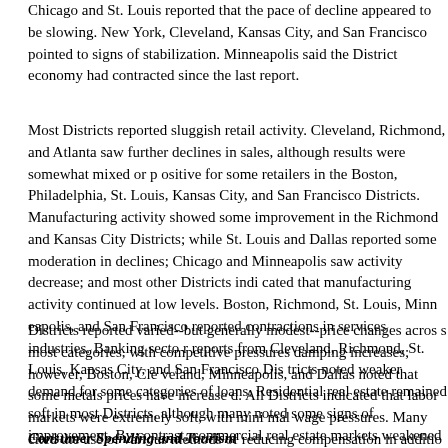Chicago and St. Louis reported that the pace of decline appeared to be slowing. New York, Cleveland, Kansas City, and San Francisco pointed to signs of stabilization. Minneapolis said the District economy had contracted since the last report.
Most Districts reported sluggish retail activity. Cleveland, Richmond, and Atlanta saw further declines in sales, although results were somewhat mixed or positive for some retailers in the Boston, Philadelphia, St. Louis, Kansas City, and San Francisco Districts. Manufacturing activity showed some improvement in the Richmond and Kansas City Districts; while St. Louis and Dallas reported some moderation in declines; Chicago and Minneapolis saw activity decrease; and most other Districts indicated that manufacturing activity continued at low levels. Boston, Richmond, St. Louis, Minneapolis, and San Francisco reported contractions in services industries. Banking sector reports from Cleveland, Richmond, St. Louis, Kansas City, and San Francisco Districts noted weaker demand for some categories of loans. Residential real estate remained soft in most Districts, although many noted some signs of improvement. By contrast, commercial real estate markets weakened further in recent months in two-thirds of Districts and remained slow in the others.
Districts reported varied--but generally modest--price changes across most categories, with competitive pressures damping increases; however, Boston, Cleveland, Minneapolis, and Dallas noted that some metals prices have increased. All Districts indicated that labor markets were extremely soft, with minimal wage pressures. Many cited the use of various methods of reducing compensation in addition to freezing or cutting wages.
Consumer Spending and Tourism